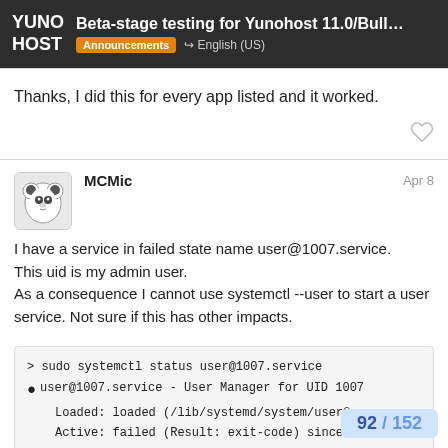Beta-stage testing for Yunohost 11.0/Bullseye a... | Announcements | English (US)
Thanks, I did this for every app listed and it worked.
MCMic
Apr 8
I have a service in failed state name user@1007.service.
This uid is my admin user.
As a consequence I cannot use systemctl --user to start a user service. Not sure if this has other impacts.
> sudo systemctl status user@1007.service
● user@1007.service - User Manager for UID 1007
     Loaded: loaded (/lib/systemd/system/user@.
     Active: failed (Result: exit-code) since F
     Docs: man:user@.service
     Process: 100397 ExecStart=.
92 / 152